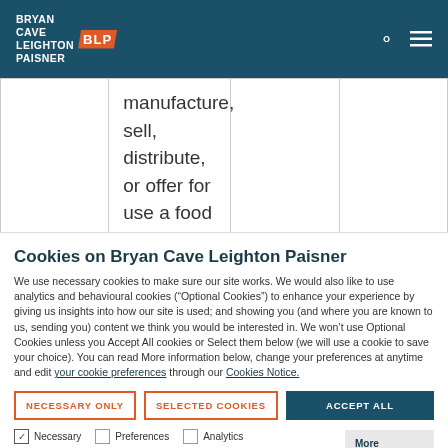Bryan Cave Leighton Paisner BLP
|  | manufacture, sell, distribute, or offer for use a food |  |  |
Cookies on Bryan Cave Leighton Paisner
We use necessary cookies to make sure our site works. We would also like to use analytics and behavioural cookies (“Optional Cookies”) to enhance your experience by giving us insights into how our site is used; and showing you (and where you are known to us, sending you) content we think you would be interested in. We won’t use Optional Cookies unless you Accept All cookies or Select them below (we will use a cookie to save your choice). You can read More information below, change your preferences at anytime and edit your cookie preferences through our Cookies Notice.
NECESSARY ONLY   SELECTED COOKIES   ACCEPT ALL
Necessary   Preferences   Analytics   Behavioural   More information